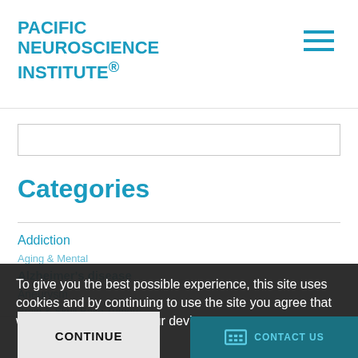PACIFIC NEUROSCIENCE INSTITUTE®
Categories
Addiction
Aging & Mental
Alzheimer's disease
Aneurysm
Brain & Skull Base Tumors
Brain Health
To give you the best possible experience, this site uses cookies and by continuing to use the site you agree that we can save them on your device.
Caregivers